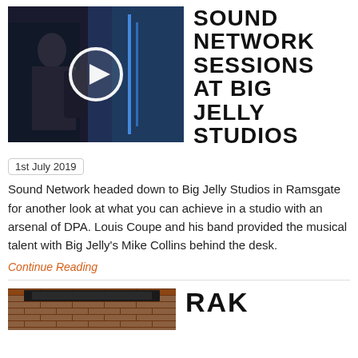[Figure (photo): Video thumbnail showing a musician playing guitar in a dark studio with blue lighting, a play button overlay in the center]
SOUND NETWORK SESSIONS AT BIG JELLY STUDIOS
1st July 2019
Sound Network headed down to Big Jelly Studios in Ramsgate for another look at what you can achieve in a studio with an arsenal of DPA. Louis Coupe and his band provided the musical talent with Big Jelly's Mike Collins behind the desk.
Continue Reading
[Figure (photo): Photo of a brick building exterior]
RAK